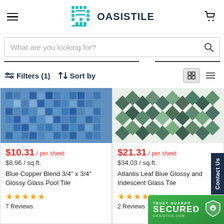[Figure (logo): Oasis Tile logo with teal geometric icon and dark navy bold text OASISTILE]
What are you looking for?
Filters (1)   Sort by
[Figure (photo): Blue Copper Blend mosaic glass pool tile product thumbnail - blue grid pattern tiles]
[Figure (photo): Atlantis Leaf Blue Glossy and Iridescent Glass Tile product thumbnail - leaf/diamond shape tiles]
$10.31 / per sheet
$8.96 / sq.ft.
Blue Copper Blend 3/4" x 3/4" Glossy Glass Pool Tile
★★★★★ 7 Reviews
$21.31 / per sheet
$34.03 / sq.ft.
Atlantis Leaf Blue Glossy and Iridescent Glass Tile
★★★★★ 2 Reviews
Contact Us
[Figure (logo): Trust Guard Secured badge with green shield icon and text TRUST GUARD SECURED OASISTILE.COM]